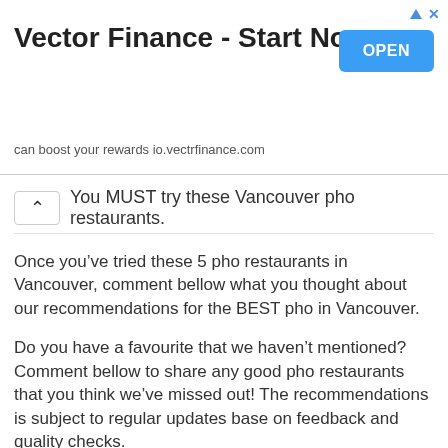[Figure (other): Advertisement banner for Vector Finance with title 'Vector Finance - Start Now', subtitle 'can boost your rewards io.vectrfinance.com', and a blue OPEN button]
You MUST try these Vancouver pho restaurants.
Once you’ve tried these 5 pho restaurants in Vancouver, comment bellow what you thought about our recommendations for the BEST pho in Vancouver.
Do you have a favourite that we haven’t mentioned? Comment bellow to share any good pho restaurants that you think we’ve missed out! The recommendations is subject to regular updates base on feedback and quality checks.